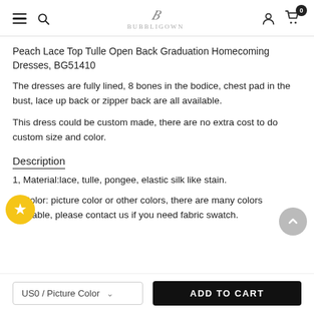BUBBLIGOWN navigation bar with hamburger menu, search, logo, user icon, and cart (0 items)
Peach Lace Top Tulle Open Back Graduation Homecoming Dresses, BG51410
The dresses are fully lined, 8 bones in the bodice, chest pad in the bust, lace up back or zipper back are all available.
This dress could be custom made, there are no extra cost to do custom size and color.
Description
1, Material:lace, tulle, pongee, elastic silk like stain.
2, Color: picture color or other colors, there are many colors available, please contact us if you need fabric swatch.
US0 / Picture Color  ∨   ADD TO CART